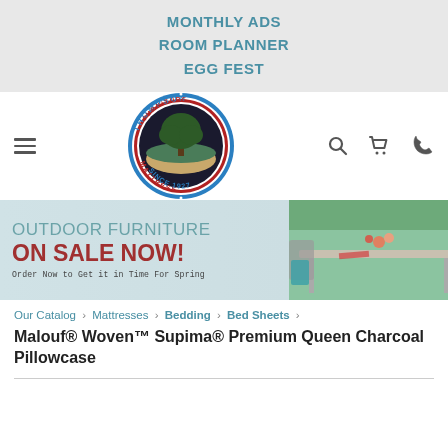MONTHLY ADS
ROOM PLANNER
EGG FEST
[Figure (logo): Thompson Furniture Mattress Since 1927 circular logo with blue border and tree image in center]
[Figure (infographic): Outdoor Furniture ON SALE NOW! Order Now to Get it in Time For Spring — banner advertisement with outdoor dining furniture on right side]
Our Catalog › Mattresses › Bedding › Bed Sheets ›
Malouf® Woven™ Supima® Premium Queen Charcoal Pillowcase